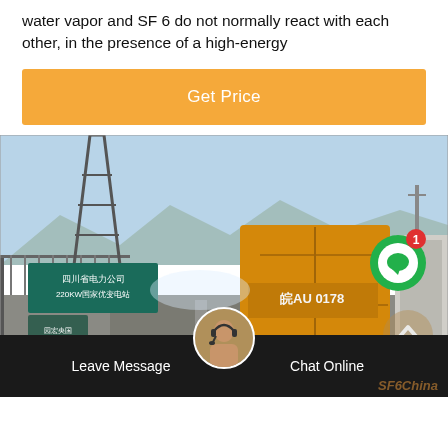water vapor and SF 6 do not normally react with each other, in the presence of a high-energy
[Figure (other): Orange 'Get Price' call-to-action button]
[Figure (photo): Photograph of a yellow truck entering a facility with Chinese characters on a sign reading 四川省电力公司 220kV国家优变电站, with industrial towers and mountains in the background. A green chat icon with notification badge (1) is overlaid, along with a scroll-up arrow button.]
Leave Message   Chat Online   SF6China